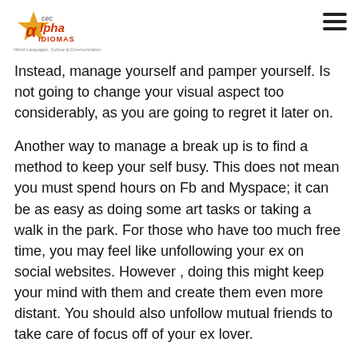CEC Alpha Idiomas — World Languages, Culture & Communication
Instead, manage yourself and pamper yourself. Is not going to change your visual aspect too considerably, as you are going to regret it later on.
Another way to manage a break up is to find a method to keep your self busy. This does not mean you must spend hours on Fb and Myspace; it can be as easy as doing some art tasks or taking a walk in the park. For those who have too much free time, you may feel like unfollowing your ex on social websites. However , doing this might keep your mind with them and create them even more distant. You should also unfollow mutual friends to take care of focus off of your ex lover.